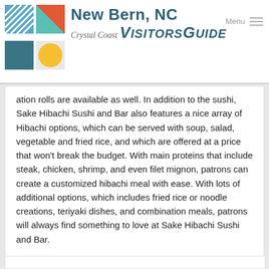New Bern, NC — Crystal Coast VisitorsGuide | Menu
ation rolls are available as well. In addition to the sushi, Sake Hibachi Sushi and Bar also features a nice array of Hibachi options, which can be served with soup, salad, vegetable and fried rice, and which are offered at a price that won't break the budget. With main proteins that include steak, chicken, shrimp, and even filet mignon, patrons can create a customized hibachi meal with ease. With lots of additional options, which includes fried rice or noodle creations, teriyaki dishes, and combination meals, patrons will always find something to love at Sake Hibachi Sushi and Bar.
Is this your business? Update your listing by messaging us here.